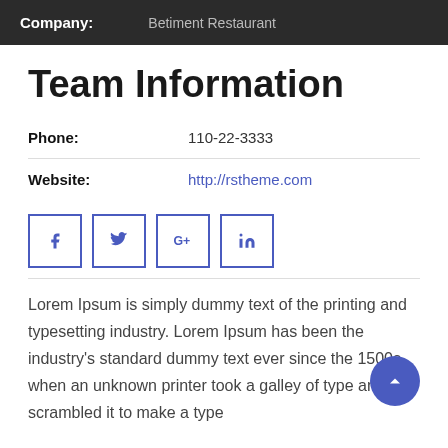Company: Betiment Restaurant
Team Information
Phone: 110-22-3333
Website: http://rstheme.com
[Figure (other): Social media icon buttons: Facebook, Twitter, Google+, LinkedIn]
Lorem Ipsum is simply dummy text of the printing and typesetting industry. Lorem Ipsum has been the industry's standard dummy text ever since the 1500s, when an unknown printer took a galley of type and scrambled it to make a type